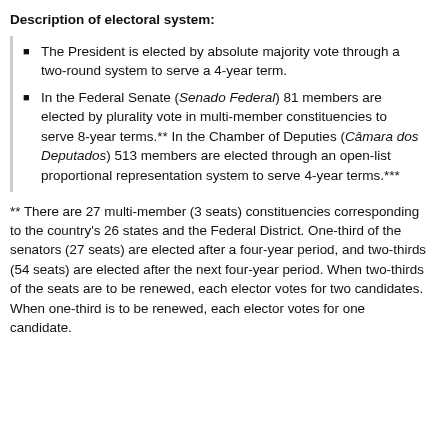Description of electoral system:
The President is elected by absolute majority vote through a two-round system to serve a 4-year term.
In the Federal Senate (Senado Federal) 81 members are elected by plurality vote in multi-member constituencies to serve 8-year terms.** In the Chamber of Deputies (Câmara dos Deputados) 513 members are elected through an open-list proportional representation system to serve 4-year terms.***
** There are 27 multi-member (3 seats) constituencies corresponding to the country's 26 states and the Federal District. One-third of the senators (27 seats) are elected after a four-year period, and two-thirds (54 seats) are elected after the next four-year period. When two-thirds of the seats are to be renewed, each elector votes for two candidates. When one-third is to be renewed, each elector votes for one candidate.